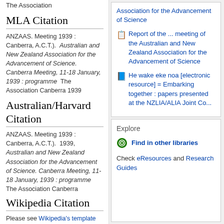The Association
MLA Citation
ANZAAS. Meeting 1939 : Canberra, A.C.T.).  Australian and New Zealand Association for the Advancement of Science. Canberra Meeting, 11-18 January, 1939 : programme  The Association Canberra 1939
Australian/Harvard Citation
ANZAAS. Meeting 1939 : Canberra, A.C.T.).  1939,  Australian and New Zealand Association for the Advancement of Science. Canberra Meeting, 11-18 January, 1939 : programme  The Association Canberra
Wikipedia Citation
Please see Wikipedia's template documentation for
[Figure (other): Right panel with related book links: 'Association for the Advancement of Science', 'Report of the ... meeting of the Australian and New Zealand Association for the Advancement of Science', 'He wake eke noa [electronic resource] = Embarking together : papers presented at the NZLIA/ALIA Joint Co...']
Explore
Find in other libraries
Check eResources and Research Guides